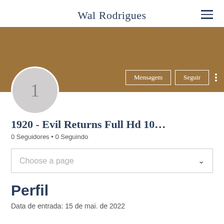Wal Rodrigues
[Figure (screenshot): Profile cover banner in brownish-tan color with Mensagem and Seguir buttons and three-dot menu in the bottom right, and a circular avatar with number 1 overlapping the bottom left]
1920 - Evil Returns Full Hd 10…
0 Seguidores • 0 Seguindo
Choose a page
Perfil
Data de entrada: 15 de mai. de 2022